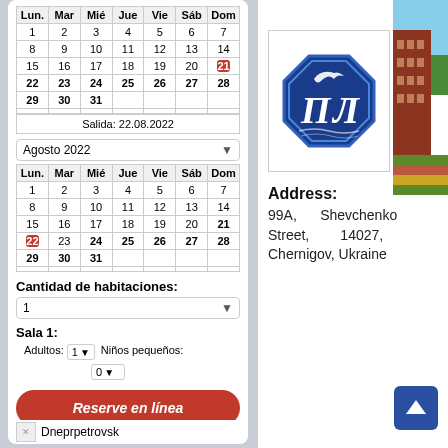| Lun. | Mar | Mié | Jue | Vie | Sáb | Dom |
| --- | --- | --- | --- | --- | --- | --- |
| 1 | 2 | 3 | 4 | 5 | 6 | 7 |
| 8 | 9 | 10 | 11 | 12 | 13 | 14 |
| 15 | 16 | 17 | 18 | 19 | 20 | 21 |
| 22 | 23 | 24 | 25 | 26 | 27 | 28 |
| 29 | 30 | 31 |  |  |  |  |
Salida: 22.08.2022
Agosto 2022
| Lun. | Mar | Mié | Jue | Vie | Sáb | Dom |
| --- | --- | --- | --- | --- | --- | --- |
| 1 | 2 | 3 | 4 | 5 | 6 | 7 |
| 8 | 9 | 10 | 11 | 12 | 13 | 14 |
| 15 | 16 | 17 | 18 | 19 | 20 | 21 |
| 22 | 23 | 24 | 25 | 26 | 27 | 28 |
| 29 | 30 | 31 |  |  |  |  |
Cantidad de habitaciones:
1
Sala 1:
Adultos: 1  Niños pequeños: 0
Reserve en línea
Dneprpetrovsk
[Figure (logo): Blue octagonal hotel logo with Cyrillic letters ПЛ and a bird]
[Figure (photo): Exterior photo of a red brick hotel building with green trees and flowers]
Pride
Address:
99A, Shevchenko Street, 14027, Chernigov, Ukraine
[Figure (other): Blue scroll-up arrow button]